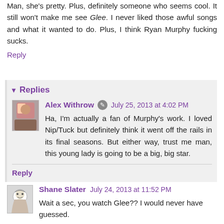Man, she's pretty. Plus, definitely someone who seems cool. It still won't make me see Glee. I never liked those awful songs and what it wanted to do. Plus, I think Ryan Murphy fucking sucks.
Reply
Replies
Alex Withrow  July 25, 2013 at 4:02 PM
Ha, I'm actually a fan of Murphy's work. I loved Nip/Tuck but definitely think it went off the rails in its final seasons. But either way, trust me man, this young lady is going to be a big, big star.
Reply
Shane Slater  July 24, 2013 at 11:52 PM
Wait a sec, you watch Glee?? I would never have guessed.
Nice interview btw.